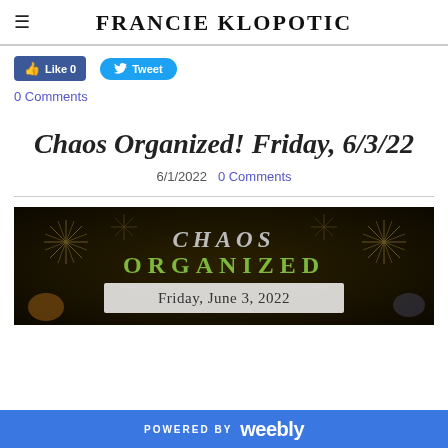FRANCIE KLOPOTIC
[Figure (screenshot): Facebook Like button (0 likes) and Twitter Tweet button]
0 Comments
Chaos Organized! Friday, 6/3/22
6/1/2022   0 Comments
[Figure (illustration): Chaos Organized banner image with dark background, starbursts, text reading CHAOS ORGANIZED Friday, June 3, 2022]
POWERED BY weebly